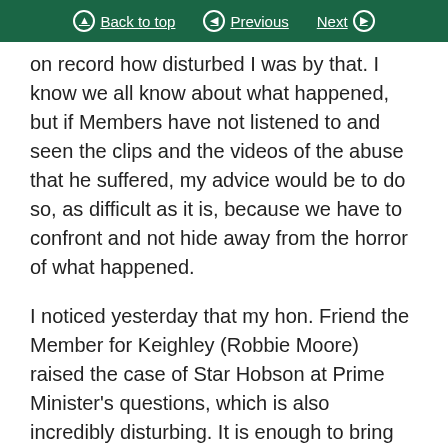Back to top | Previous | Next
on record how disturbed I was by that. I know we all know about what happened, but if Members have not listened to and seen the clips and the videos of the abuse that he suffered, my advice would be to do so, as difficult as it is, because we have to confront and not hide away from the horror of what happened.

I noticed yesterday that my hon. Friend the Member for Keighley (Robbie Moore) raised the case of Star Hobson at Prime Minister's questions, which is also incredibly disturbing. It is enough to bring any of us to tears when we think about what must have been going through the minds of those young, defenceless people—how vulnerable they were, and how incapable they were of doing anything to